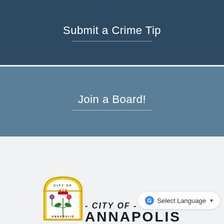Submit a Crime Tip
Join a Board!
[Figure (logo): City of Annapolis official seal/logo with thistle and rose emblem, gold border, arched top]
- CITY OF -
ANNAPOLIS